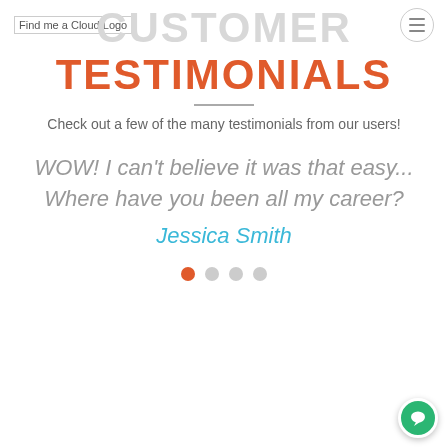Find me a Cloud Logo
CUSTOMER TESTIMONIALS
Check out a few of the many testimonials from our users!
WOW! I can't believe it was that easy... Where have you been all my career? Jessica Smith